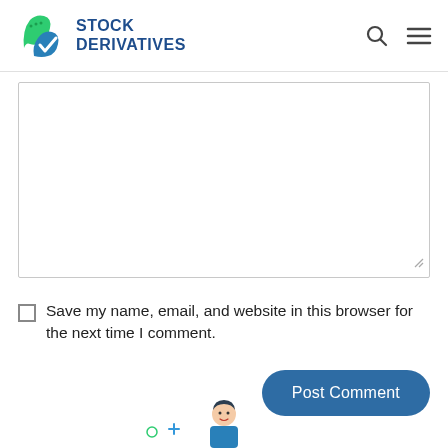STOCK DERIVATIVES
[Figure (screenshot): Empty comment text area input box with resize handle at bottom right]
Save my name, email, and website in this browser for the next time I comment.
[Figure (screenshot): Post Comment button - rounded dark blue button]
[Figure (illustration): Partial bottom illustration showing a cartoon person with decorative plus and circle elements]